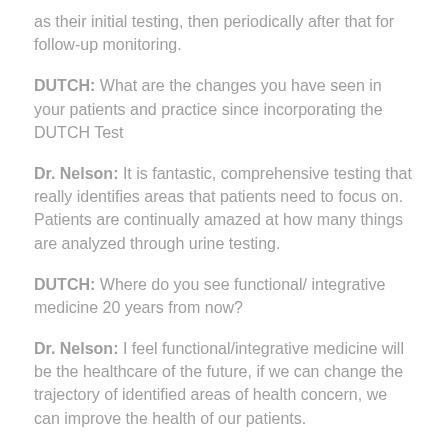as their initial testing, then periodically after that for follow-up monitoring.
DUTCH: What are the changes you have seen in your patients and practice since incorporating the DUTCH Test
Dr. Nelson: It is fantastic, comprehensive testing that really identifies areas that patients need to focus on. Patients are continually amazed at how many things are analyzed through urine testing.
DUTCH: Where do you see functional/ integrative medicine 20 years from now?
Dr. Nelson: I feel functional/integrative medicine will be the healthcare of the future, if we can change the trajectory of identified areas of health concern, we can improve the health of our patients.